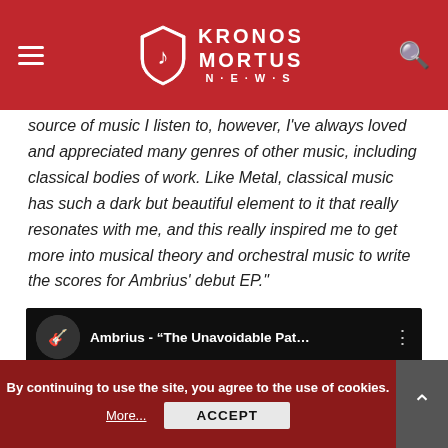Kronos Mortus News
source of music I listen to, however, I've always loved and appreciated many genres of other music, including classical bodies of work. Like Metal, classical music has such a dark but beautiful element to it that really resonates with me, and this really inspired me to get more into musical theory and orchestral music to write the scores for Ambrius' debut EP."
[Figure (screenshot): YouTube video embed showing Ambrius - The Unavoidable Pat... with play button overlay and THE UNAVOIDABLE PATH text in background]
By continuing to use the site, you agree to the use of cookies.
More... ACCEPT